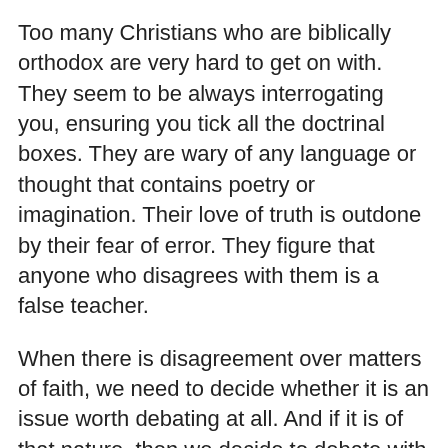Too many Christians who are biblically orthodox are very hard to get on with. They seem to be always interrogating you, ensuring you tick all the doctrinal boxes. They are wary of any language or thought that contains poetry or imagination. Their love of truth is outdone by their fear of error. They figure that anyone who disagrees with them is a false teacher.
When there is disagreement over matters of faith, we need to decide whether it is an issue worth debating at all. And if it is of that nature, then we decide to debate with courtesy and respect. Our aim, after all, is not to win an argument, but to win another true disciple of Jesus.